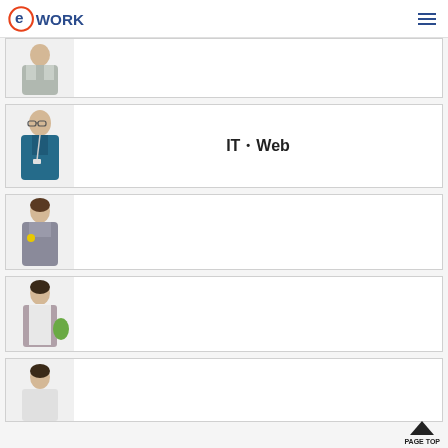eWORK
[Figure (photo): Person in work uniform, card row 1 with Japanese text]
[Figure (photo): Person in teal top with lanyard, card row 2 IT·Web]
IT・Web
[Figure (photo): Woman in business suit, card row 3 with Japanese text]
[Figure (photo): Woman in apron with green bag, card row 4 with Japanese text]
[Figure (photo): Person partially visible, card row 5]
PAGE TOP